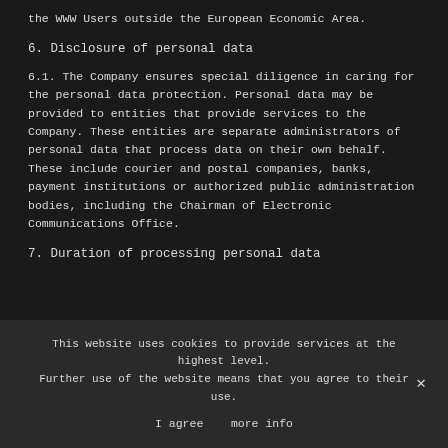the WWW Users outside the European Economic Area.
6. Disclosure of personal data
6.1. The Company ensures special diligence in caring for the personal data protection. Personal data may be provided to entities that provide services to the Company. These entities are separate administrators of personal data that process data on their own behalf. These include courier and postal companies, banks, payment institutions or authorized public administration bodies, including the Chairman of Electronic Communications Office.
7. Duration of processing personal data
This website uses cookies to provide services at the highest level. Further use of the website means that you agree to their use.
I agree   more info